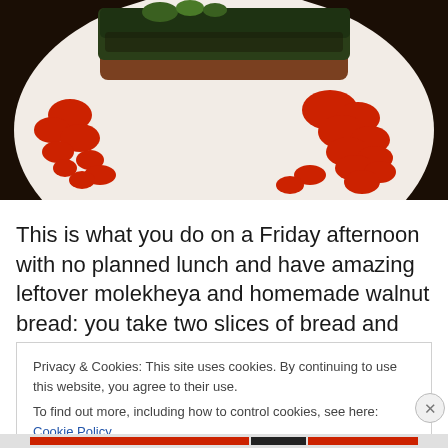[Figure (photo): Photo of a sandwich or open-faced bread topped with dark green molekheya (herb stew) on a decorative white plate with red floral pattern, placed on a dark wooden surface.]
This is what you do on a Friday afternoon with no planned lunch and have amazing leftover molekheya and homemade walnut bread: you take two slices of bread and
Privacy & Cookies: This site uses cookies. By continuing to use this website, you agree to their use.
To find out more, including how to control cookies, see here: Cookie Policy
Close and accept